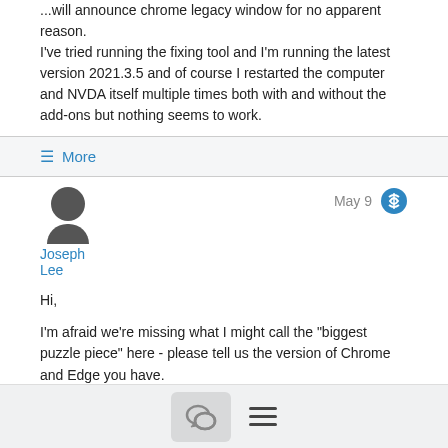...will announce chrome legacy window for no apparent reason.
I've tried running the fixing tool and I'm running the latest version 2021.3.5 and of course I restarted the computer and NVDA itself multiple times both with and without the add-ons but nothing seems to work.
≡ More
Joseph Lee — May 9
Hi,

I'm afraid we're missing what I might call the "biggest puzzle piece" here - please tell us the version of Chrome and Edge you have.

Cheers,

Joseph